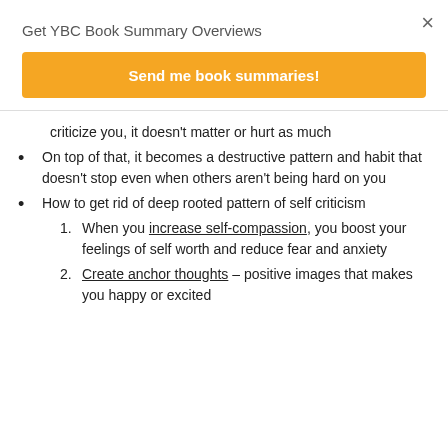×
Get YBC Book Summary Overviews
Send me book summaries!
criticize you, it doesn't matter or hurt as much
On top of that, it becomes a destructive pattern and habit that doesn't stop even when others aren't being hard on you
How to get rid of deep rooted pattern of self criticism
When you increase self-compassion, you boost your feelings of self worth and reduce fear and anxiety
Create anchor thoughts – positive images that makes you happy or excited